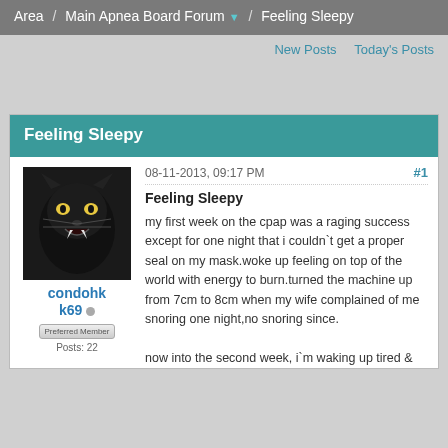Area / Main Apnea Board Forum / Feeling Sleepy
New Posts   Today's Posts
Feeling Sleepy
08-11-2013, 09:17 PM  #1
[Figure (photo): Profile photo of a black panther with glowing eyes and open mouth showing teeth]
condohk69
Preferred Member
Feeling Sleepy

my first week on the cpap was a raging success except for one night that i couldn`t get a proper seal on my mask.woke up feeling on top of the world with energy to burn.turned the machine up from 7cm to 8cm when my wife complained of me snoring one night,no snoring since.

now into the second week, i`m waking up tired &